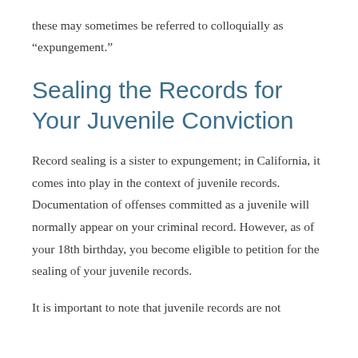these may sometimes be referred to colloquially as “expungement.”
Sealing the Records for Your Juvenile Conviction
Record sealing is a sister to expungement; in California, it comes into play in the context of juvenile records. Documentation of offenses committed as a juvenile will normally appear on your criminal record. However, as of your 18th birthday, you become eligible to petition for the sealing of your juvenile records.
It is important to note that juvenile records are not